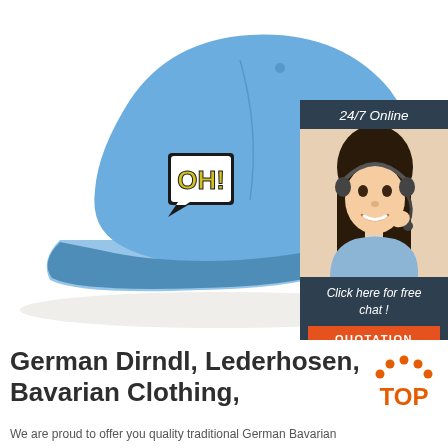[Figure (photo): Light blue baseball cap with 'OH!' comic-style embroidered patch on the front, photographed on white background]
[Figure (infographic): 24/7 Online chat widget with woman wearing headset and 'Click here for free chat!' text with QUOTATION orange button]
German Dirndl, Lederhosen, Bavarian Clothing,
[Figure (logo): TOP logo with orange dots arranged in arc above orange text 'TOP']
We are proud to offer you quality traditional German Bavarian